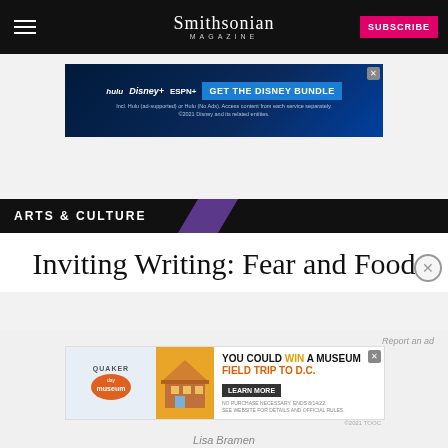Smithsonian MAGAZINE
[Figure (other): Disney Bundle advertisement: hulu Disney+ ESPN+ GET THE DISNEY BUNDLE. Incl. Hulu (ad-supported) or Hulu (No Ads). Access content from each service separately. ©2021 Disney and its related entities.]
ARTS & CULTURE
Inviting Writing: Fear and Food
[Figure (other): Quaker advertisement: YOU COULD WIN A MUSEUM FIELD TRIP TO D.C. LEARN MORE. NO PURCHASE NECESSARY. ENDS 8/14/22. SEE WEBSITE FOR DETAILS AND OFFICIAL RULES. ©2021 TOOC]
Lisa Bramen